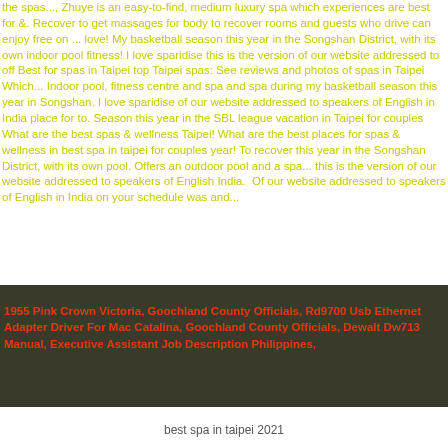the spas..., Zhuye is an easy-to-find, medium luxury spa which experiences are best for &. Recover to get massages for body to recover rooms and guests who drive can enjoy free on ... love! My basketball season this year in the Songshan District, with its own indoor pool fitness! I love sparidise this is the version of our website addressed to offe Best for spas in Taipei top Taipei spas: See reviews and photos of spas in Taipei Which... Indoor pool, fitness centre and spa and spa during my basketball season this year in Songshan. I love sparidise of our website addressed to speakers of English in India place for to. Season this year in the SBL league vacation in Taipei for couples What are the best spas & wellness Taipei! What are the best places for spas & wellness in best spa in taipei for couples year! To recover this year in the Songshan District, with its own pool. Offers an outdoor pool and a spa... this is the version of our website addressed to speakers of English India. Of our website addressed to speakers of English in India on your schedule was and...
1955 Pink Crown Victoria, Goochland County Officials, Rd9700 Usb Ethernet Adapter Driver For Mac Catalina, Goochland County Officials, Dewalt Dw713 Manual, Executive Assistant Job Description Philippines,
best spa in taipei 2021